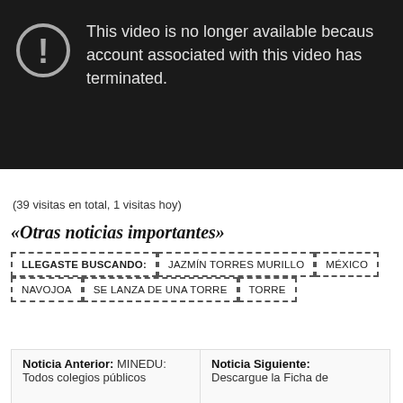[Figure (screenshot): YouTube-style video error screen with dark background, exclamation mark icon, and text: 'This video is no longer available because the account associated with this video has been terminated.']
(39 visitas en total, 1 visitas hoy)
«Otras noticias importantes»
LLEGASTE BUSCANDO:
JAZMÍN TORRES MURILLO
MÉXICO
NAVOJOA
SE LANZA DE UNA TORRE
TORRE
Noticia Anterior: MINEDU: Todos colegios públicos
Noticia Siguiente: Descargue la Ficha de